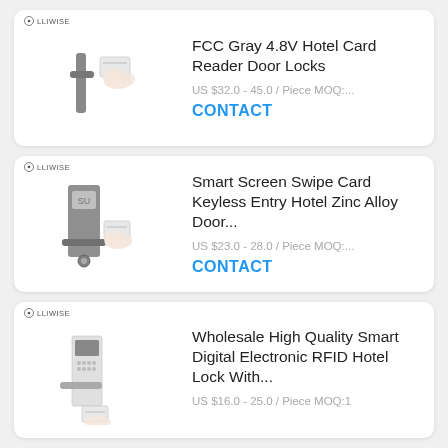[Figure (photo): Product card 1: LLIWISE brand hotel card reader door lock (gray), hand holding a key card]
FCC Gray 4.8V Hotel Card Reader Door Locks
US $32.0 - 45.0 / Piece MOQ:...
CONTACT
[Figure (photo): Product card 2: LLIWISE brand smart screen swipe card keyless entry hotel zinc alloy door lock]
Smart Screen Swipe Card Keyless Entry Hotel Zinc Alloy Door...
US $23.0 - 28.0 / Piece MOQ:...
CONTACT
[Figure (photo): Product card 3: LLIWISE brand wholesale high quality smart digital electronic RFID hotel lock]
Wholesale High Quality Smart Digital Electronic RFID Hotel Lock With...
US $16.0 - 25.0 / Piece MOQ:1